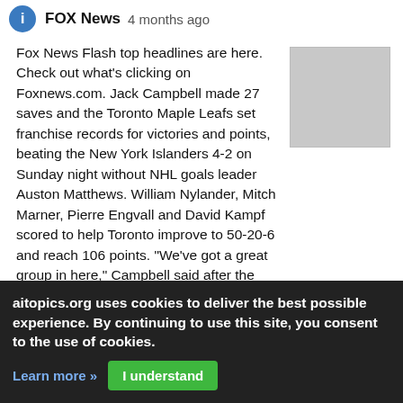FOX News  4 months ago
Fox News Flash top headlines are here. Check out what's clicking on Foxnews.com. Jack Campbell made 27 saves and the Toronto Maple Leafs set franchise records for victories and points, beating the New York Islanders 4-2 on Sunday night without NHL goals leader Auston Matthews. William Nylander, Mitch Marner, Pierre Engvall and David Kampf scored to help Toronto improve to 50-20-6 and reach 106 points. "We've got a great group in here," Campbell said after the record-setting win.
[Figure (photo): Thumbnail image placeholder (gray rectangle)]
Matthews nets hat trick, carrying Maple Leafs
aitopics.org uses cookies to deliver the best possible experience. By continuing to use this site, you consent to the use of cookies.
Learn more »  I understand